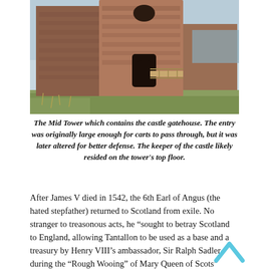[Figure (photo): Photo of the Mid Tower of Tantallon Castle showing ruined red sandstone walls, a wooden walkway/bridge, and grass in the foreground under a pale sky.]
The Mid Tower which contains the castle gatehouse. The entry was originally large enough for carts to pass through, but it was later altered for better defense. The keeper of the castle likely resided on the tower's top floor.
After James V died in 1542, the 6th Earl of Angus (the hated stepfather) returned to Scotland from exile. No stranger to treasonous acts, he “sought to betray Scotland to England, allowing Tantallon to be used as a base and a treasury by Henry VIII’s ambassador, Sir Ralph Sadler, during the “Rough Wooing” of Mary Queen of Scots” (Undiscovered Scotland). Archibald died at Tantallon in 1556, but because the next